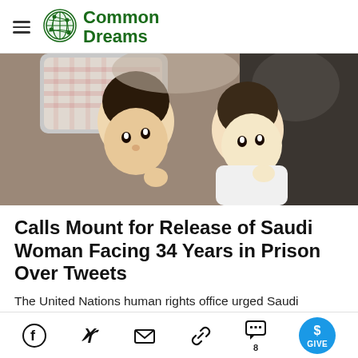Common Dreams
[Figure (photo): Two children lying down looking up, with adults wearing traditional Arabic dress in the background]
Calls Mount for Release of Saudi Woman Facing 34 Years in Prison Over Tweets
The United Nations human rights office urged Saudi authorities to quash Salma al-Shehab's conviction and 'release her immediately and unconditionally'
Share icons: Facebook, Twitter, Email, Link, Comments (8), Give